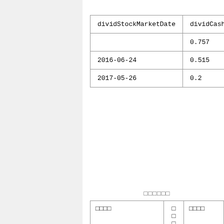| dividStockMarketDate | dividCashPs |
| --- | --- |
|  | 0.757 |
| 2016-06-24 | 0.515 |
| 2017-05-26 | 0.2 |
□□□□□□
| □□□□ | □
□
□
□ | □□□□ |
| --- | --- | --- |